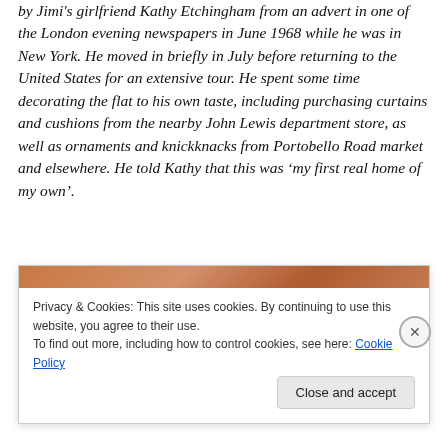by Jimi's girlfriend Kathy Etchingham from an advert in one of the London evening newspapers in June 1968 while he was in New York. He moved in briefly in July before returning to the United States for an extensive tour. He spent some time decorating the flat to his own taste, including purchasing curtains and cushions from the nearby John Lewis department store, as well as ornaments and knickknacks from Portobello Road market and elsewhere. He told Kathy that this was ‘my first real home of my own’.
[Figure (photo): Cookie consent overlay with a partial image of a brownish-orange colored subject visible at the top, with a cookie policy notice below.]
Privacy & Cookies: This site uses cookies. By continuing to use this website, you agree to their use.
To find out more, including how to control cookies, see here: Cookie Policy